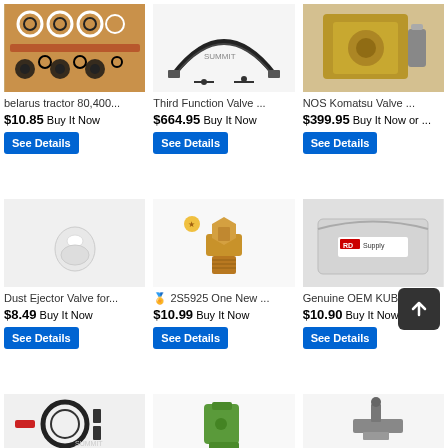[Figure (photo): Gasket and O-ring seal kit for Belarus tractor laid out on orange surface]
belarus tractor 80,400...
$10.85 Buy It Now
See Details
[Figure (photo): Third Function Valve kit with hoses and fittings on white background, Summit brand]
Third Function Valve ...
$664.95 Buy It Now
See Details
[Figure (photo): NOS Komatsu hydraulic valve, metal component, golden/bronze color]
NOS Komatsu Valve ...
$399.95 Buy It Now or ...
See Details
[Figure (photo): Dust Ejector Valve small white rubber component on white background]
Dust Ejector Valve for...
$8.49 Buy It Now
See Details
[Figure (photo): 2S5925 brass grease fitting/zerk, golden metal on white background]
2S5925 One New ...
$10.99 Buy It Now
See Details
[Figure (photo): Genuine OEM Kubota part in gray packaging with RD Supply label]
Genuine OEM KUBO...
$10.90 Buy It Now
See Details
[Figure (photo): Third function valve kit with black hoses partially visible, Summit watermark]
[Figure (photo): Green hydraulic fitting or valve component on white background]
[Figure (photo): Metal clamp or bracket component on white background]